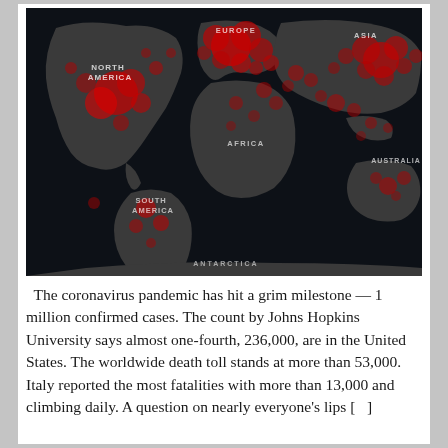[Figure (map): Dark world map showing coronavirus spread with red dots/clusters indicating confirmed case concentrations. Regions labeled: North America (large red cluster), Europe (large red cluster), Asia (red clusters), Africa, South America, Australia, Antarctica. Red dots of varying sizes show outbreak intensity worldwide.]
The coronavirus pandemic has hit a grim milestone — 1 million confirmed cases. The count by Johns Hopkins University says almost one-fourth, 236,000, are in the United States. The worldwide death toll stands at more than 53,000. Italy reported the most fatalities with more than 13,000 and climbing daily. A question on nearly everyone's lips [...]